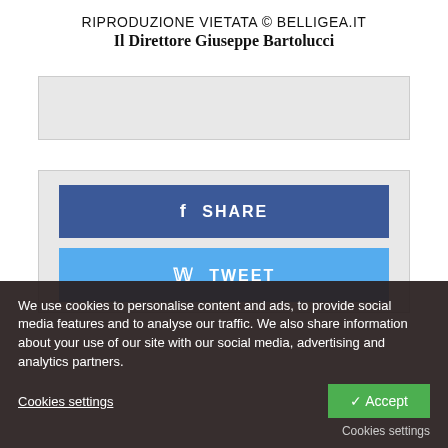RIPRODUZIONE VIETATA © BELLIGEA.IT
Il Direttore Giuseppe Bartolucci
[Figure (other): Gray advertisement placeholder box 1]
[Figure (other): Social share buttons area with Facebook SHARE (blue) and Twitter TWEET (light blue) buttons, and a partially visible Google+ SHARE button below]
We use cookies to personalise content and ads, to provide social media features and to analyse our traffic. We also share information about your use of our site with our social media, advertising and analytics partners.
Cookies settings   ✓ Accept   Cookies settings